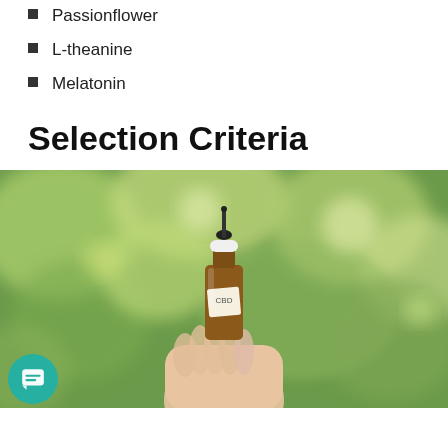Passionflower
L-theanine
Melatonin
Selection Criteria
[Figure (photo): A hand holding a small amber glass dropper bottle labeled CBD, set against a blurred green bokeh background of foliage.]